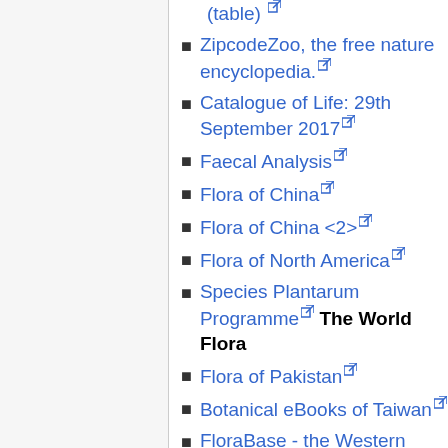ZipcodeZoo, the free nature encyclopedia. [ext]
Catalogue of Life: 29th September 2017 [ext]
Faecal Analysis [ext]
Flora of China [ext]
Flora of China <2> [ext]
Flora of North America [ext]
Species Plantarum Programme [ext] The World Flora
Flora of Pakistan [ext]
Botanical eBooks of Taiwan [ext]
FloraBase - the Western Australian Flora [ext]